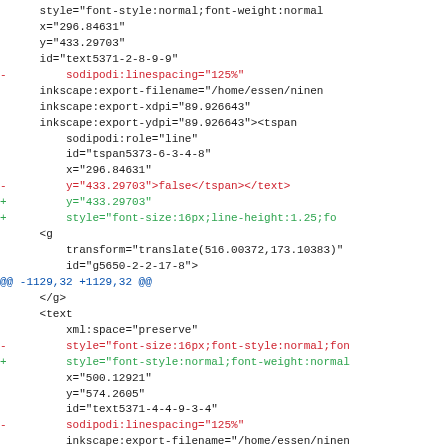Diff/code view showing SVG XML changes with diff markers (-, +) and hunk headers